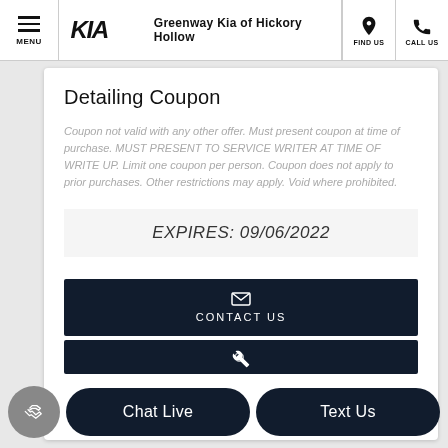MENU | Greenway Kia of Hickory Hollow | FIND US | CALL US
Detailing Coupon
Coupon not valid with any other offer. Must present coupon at time of purchase. MUST PRESENT TO SERVICE WRITER AT TIME OF WRITE UP. Limit one coupon per person. Coupon does not apply to prior purchases. Other restrictions may apply. Void where prohibited.
EXPIRES: 09/06/2022
CONTACT US
Chat Live
Text Us